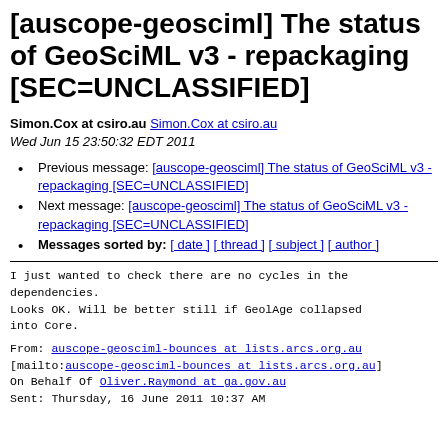[auscope-geosciml] The status of GeoSciML v3 - repackaging [SEC=UNCLASSIFIED]
Simon.Cox at csiro.au Simon.Cox at csiro.au
Wed Jun 15 23:50:32 EDT 2011
Previous message: [auscope-geosciml] The status of GeoSciML v3 - repackaging [SEC=UNCLASSIFIED]
Next message: [auscope-geosciml] The status of GeoSciML v3 - repackaging [SEC=UNCLASSIFIED]
Messages sorted by: [ date ] [ thread ] [ subject ] [ author ]
I just wanted to check there are no cycles in the
dependencies.
Looks OK. Will be better still if GeolAge collapsed
into Core.
From: auscope-geosciml-bounces at lists.arcs.org.au
[mailto:auscope-geosciml-bounces at lists.arcs.org.au]
On Behalf Of Oliver.Raymond at ga.gov.au
Sent: Thursday, 16 June 2011 10:37 AM